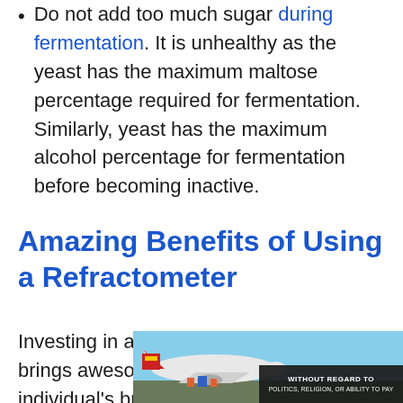Do not add too much sugar during fermentation. It is unhealthy as the yeast has the maximum maltose percentage required for fermentation. Similarly, yeast has the maximum alcohol percentage for fermentation before becoming inactive.
Amazing Benefits of Using a Refractometer
Investing in a home use refractometer brings awesome benefits to an individual's brewing
[Figure (photo): Photo of cargo being loaded onto an airplane, with an advertisement banner overlay reading 'WITHOUT REGARD TO POLITICS, RELIGION, OR ABILITY TO PAY']